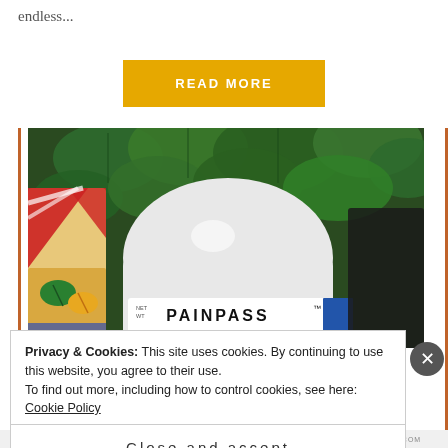endless...
READ MORE
[Figure (photo): Photo of a white round jar labeled PAINPASS with green ivy plants and colorful ceramic in background]
Privacy & Cookies: This site uses cookies. By continuing to use this website, you agree to their use.
To find out more, including how to control cookies, see here: Cookie Policy
Close and accept